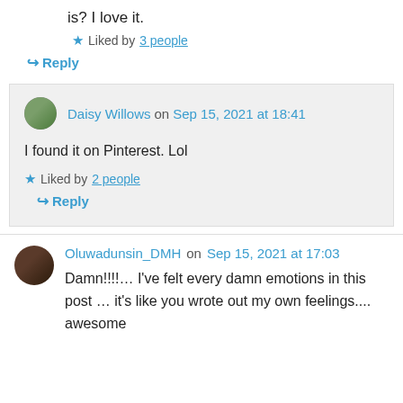is? I love it.
★ Liked by 3 people
↪ Reply
Daisy Willows on Sep 15, 2021 at 18:41
I found it on Pinterest. Lol
★ Liked by 2 people
↪ Reply
Oluwadunsin_DMH on Sep 15, 2021 at 17:03
Damn!!!!… I've felt every damn emotions in this post … it's like you wrote out my own feelings.... awesome